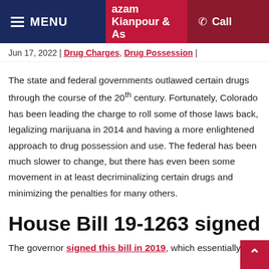MENU | azam Kianpour & As | Call
Jun 17, 2022 | Drug Charges, Drug Possession |
The state and federal governments outlawed certain drugs through the course of the 20th century. Fortunately, Colorado has been leading the charge to roll some of those laws back, legalizing marijuana in 2014 and having a more enlightened approach to drug possession and use. The federal has been much slower to change, but there has even been some movement in at least decriminalizing certain drugs and minimizing the penalties for many others.
House Bill 19-1263 signed
The governor signed this bill in 2019, which essentially